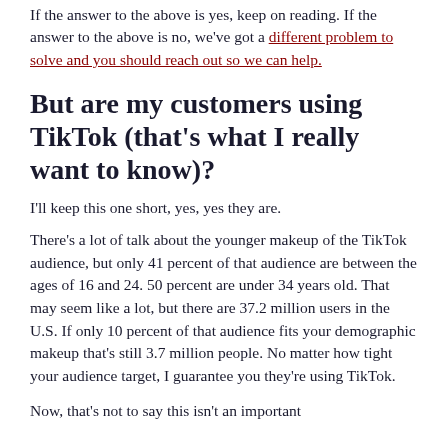If the answer to the above is yes, keep on reading. If the answer to the above is no, we've got a different problem to solve and you should reach out so we can help.
But are my customers using TikTok (that's what I really want to know)?
I'll keep this one short, yes, yes they are.
There's a lot of talk about the younger makeup of the TikTok audience, but only 41 percent of that audience are between the ages of 16 and 24. 50 percent are under 34 years old. That may seem like a lot, but there are 37.2 million users in the U.S. If only 10 percent of that audience fits your demographic makeup that's still 3.7 million people. No matter how tight your audience target, I guarantee you they're using TikTok.
Now, that's not to say this isn't an important